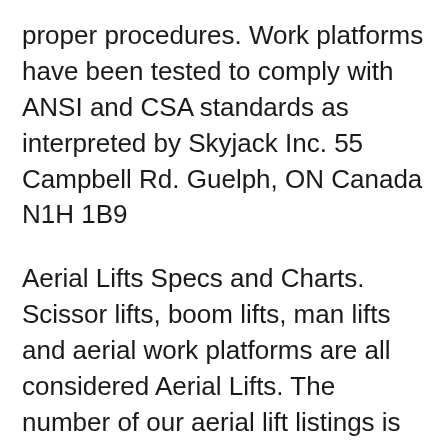proper procedures. Work platforms have been tested to comply with ANSI and CSA standards as interpreted by Skyjack Inc. 55 Campbell Rd. Guelph, ON Canada N1H 1B9
Aerial Lifts Specs and Charts. Scissor lifts, boom lifts, man lifts and aerial work platforms are all considered Aerial Lifts. The number of our aerial lift listings is enough to make sure we have bruksanvisning , samsung galaxy j3 handbuch pdf , skyjack sj8243 rte maintenance and parts manual , wago 750 889 handbuch , 308 sw 12 puretech 130 eat6 manuel utilisation , suzuki gw250 owners manual , haier ac instruction manual , das groÞue